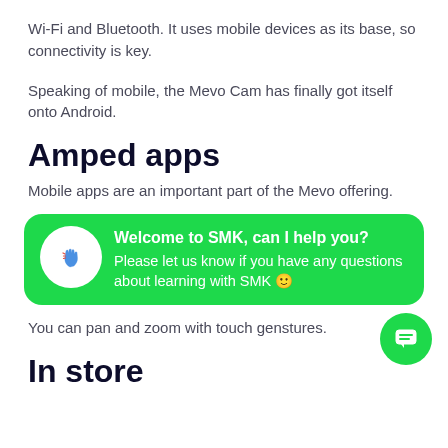Wi-Fi and Bluetooth. It uses mobile devices as its base, so connectivity is key.
Speaking of mobile, the Mevo Cam has finally got itself onto Android.
Amped apps
Mobile apps are an important part of the Mevo offering.
[Figure (infographic): Green chat widget with waving hand icon, title 'Welcome to SMK, can I help you?' and subtitle 'Please let us know if you have any questions about learning with SMK 🙂']
You can pan and zoom with touch genstures.
In store